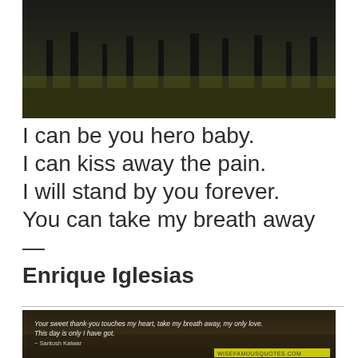[Figure (photo): Dark nighttime outdoor landscape photo with trees silhouetted against a dark sky, greenish ground visible at bottom]
I can be you hero baby.
I can kiss away the pain.
I will stand by you forever.
You can take my breath away —
Enrique Iglesias
[Figure (photo): Dark moody landscape photo with quote text overlay: 'Your sweet thank-you touches my heart, take my breath away, my only love. This day is only I have got.' attributed to Santosh Kalwar, with wisefamousquotes.com watermark]